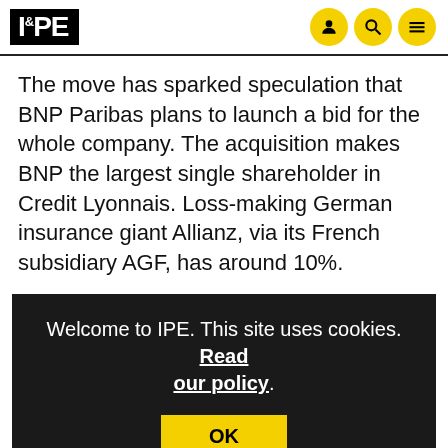IPE
The move has sparked speculation that BNP Paribas plans to launch a bid for the whole company. The acquisition makes BNP the largest single shareholder in Credit Lyonnais. Loss-making German insurance giant Allianz, via its French subsidiary AGF, has around 10%.
B... st... be... re... (partially obscured by cookie banner)
Welcome to IPE. This site uses cookies. Read our policy.
A BNP spokesman declined to be more specific about the nature of the closer cooperation and whether the purchase of the stake was part of a plan